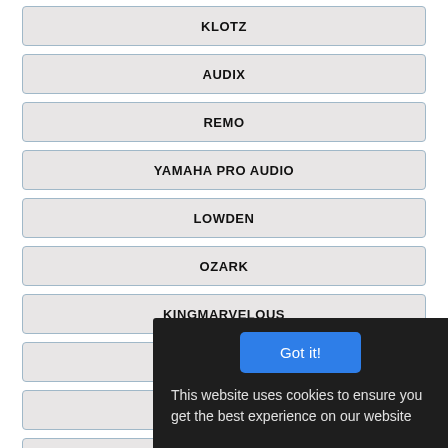KLOTZ
AUDIX
REMO
YAMAHA PRO AUDIO
LOWDEN
OZARK
KINGMARVELOUS
SCHALLER
HIELIN
Got it!
This website uses cookies to ensure you get the best experience on our website